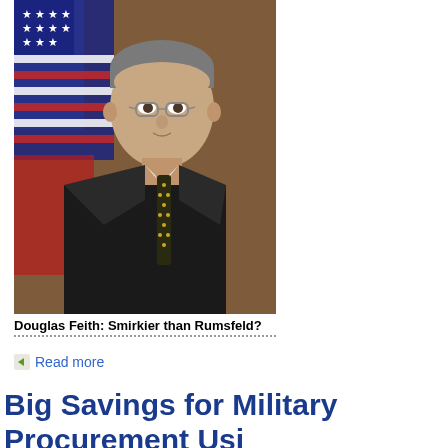[Figure (photo): Official portrait photo of Douglas Feith, a man in a dark suit with a patterned tie, wearing glasses, with an American flag in the background]
Douglas Feith: Smirkier than Rumsfeld?
Read more
Big Savings for Military Procurement Using "IKEA Model"